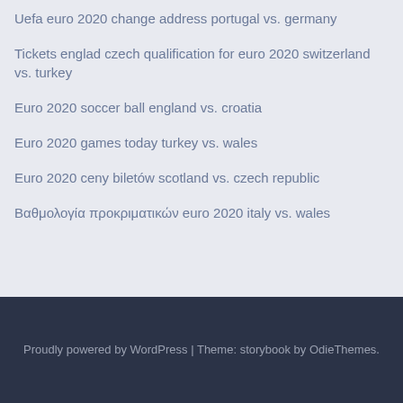Uefa euro 2020 change address portugal vs. germany
Tickets englad czech qualification for euro 2020 switzerland vs. turkey
Euro 2020 soccer ball england vs. croatia
Euro 2020 games today turkey vs. wales
Euro 2020 ceny biletów scotland vs. czech republic
Βαθμολογία προκριματικών euro 2020 italy vs. wales
Proudly powered by WordPress | Theme: storybook by OdieThemes.